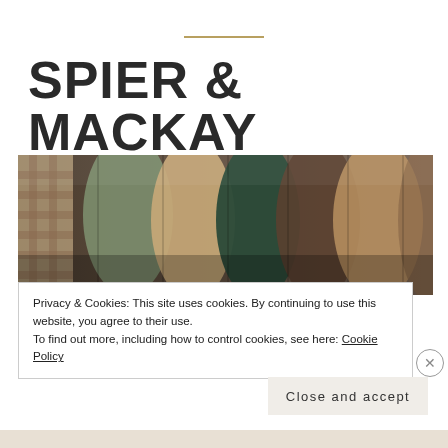[Figure (logo): Gold horizontal decorative line separator]
SPIER & MACKAY
[Figure (photo): Close-up photo of colorful suit jackets or blazers hanging on a rack, showing fabric textures in green, brown, dark, and checkered patterns]
Privacy & Cookies: This site uses cookies. By continuing to use this website, you agree to their use.
To find out more, including how to control cookies, see here: Cookie Policy
Close and accept